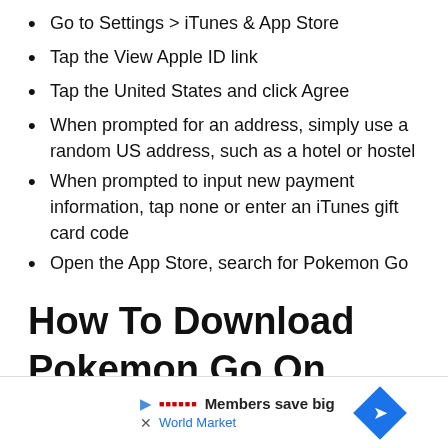Go to Settings > iTunes & App Store
Tap the View Apple ID link
Tap the United States and click Agree
When prompted for an address, simply use a random US address, such as a hotel or hostel
When prompted to input new payment information, tap none or enter an iTunes gift card code
Open the App Store, search for Pokemon Go
How To Download Pokemon Go On Android Devices
After Pokemon GOs success, a number of fake clones started popping up on the Google Play store. Heres how to get the official app.
[Figure (other): Advertisement banner: Members save big, World Market, with blue diamond navigation icon]